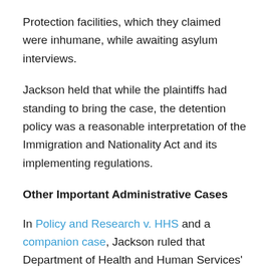Protection facilities, which they claimed were inhumane, while awaiting asylum interviews.
Jackson held that while the plaintiffs had standing to bring the case, the detention policy was a reasonable interpretation of the Immigration and Nationality Act and its implementing regulations.
Other Important Administrative Cases
In Policy and Research v. HHS and a companion case, Jackson ruled that Department of Health and Human Services' announcement that it was going to shorten the time period for grants for teen pregnancy prevention programs from five years to three years was arbitrary and capricious in violation of the Administrative Procedure Act because it was